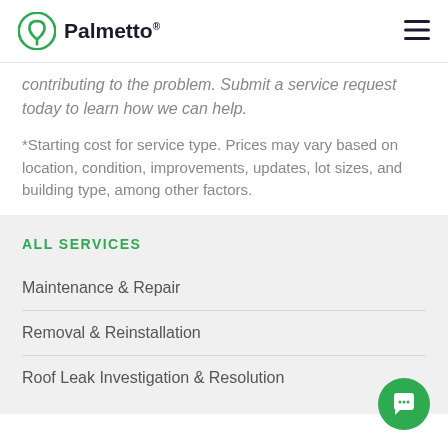Palmetto
contributing to the problem. Submit a service request today to learn how we can help.
*Starting cost for service type. Prices may vary based on location, condition, improvements, updates, lot sizes, and building type, among other factors.
ALL SERVICES
Maintenance & Repair
Removal & Reinstallation
Roof Leak Investigation & Resolution